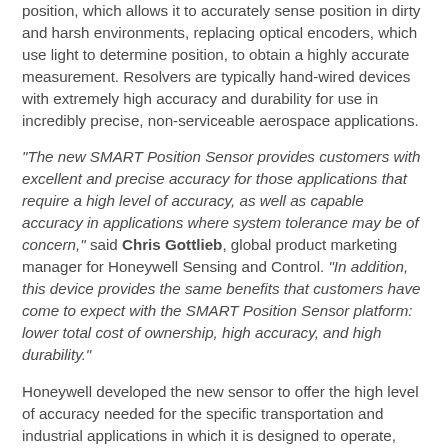position, which allows it to accurately sense position in dirty and harsh environments, replacing optical encoders, which use light to determine position, to obtain a highly accurate measurement. Resolvers are typically hand-wired devices with extremely high accuracy and durability for use in incredibly precise, non-serviceable aerospace applications.
"The new SMART Position Sensor provides customers with excellent and precise accuracy for those applications that require a high level of accuracy, as well as capable accuracy in applications where system tolerance may be of concern," said Chris Gottlieb, global product marketing manager for Honeywell Sensing and Control. "In addition, this device provides the same benefits that customers have come to expect with the SMART Position Sensor platform: lower total cost of ownership, high accuracy, and high durability."
Honeywell developed the new sensor to offer the high level of accuracy needed for the specific transportation and industrial applications in which it is designed to operate, measuring values down to 0.01°. Potential transportation applications include steering angle, articulation angle, and lane departure detection, while industrial systems can enable it...